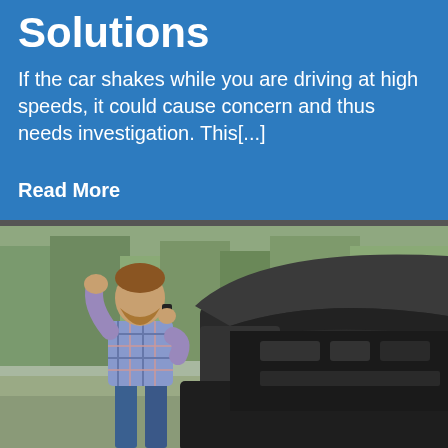Solutions
If the car shakes while you are driving at high speeds, it could cause concern and thus needs investigation. This[...]
Read More
[Figure (photo): Man standing next to a car with open hood, talking on phone and looking stressed, outdoors with trees in background]